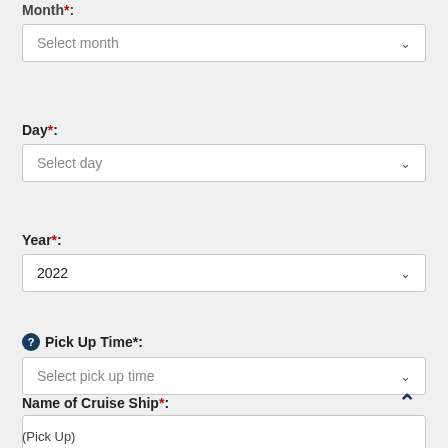Month*:
Select month
Day*:
Select day
Year*:
2022
Pick Up Time*:
Select pick up time
Name of Cruise Ship*:
(Pick Up)